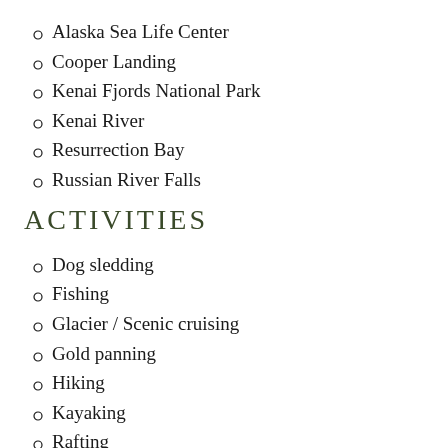Alaska Sea Life Center
Cooper Landing
Kenai Fjords National Park
Kenai River
Resurrection Bay
Russian River Falls
ACTIVITIES
Dog sledding
Fishing
Glacier / Scenic cruising
Gold panning
Hiking
Kayaking
Rafting